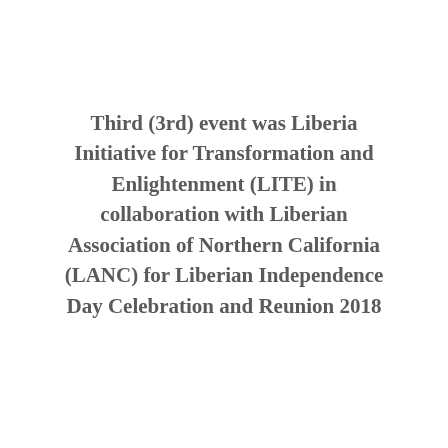Third (3rd) event was Liberia Initiative for Transformation and Enlightenment (LITE) in collaboration with Liberian Association of Northern California (LANC) for Liberian Independence Day Celebration and Reunion 2018